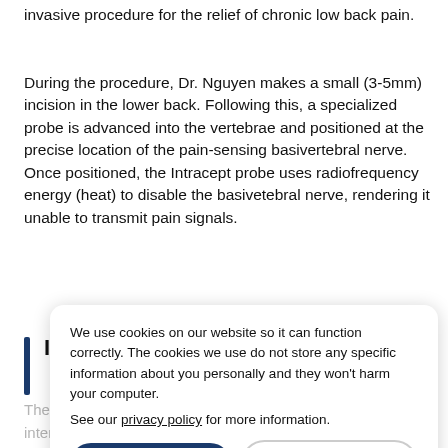invasive procedure for the relief of chronic low back pain.
During the procedure, Dr. Nguyen makes a small (3-5mm) incision in the lower back. Following this, a specialized probe is advanced into the vertebrae and positioned at the precise location of the pain-sensing basivertebral nerve. Once positioned, the Intracept probe uses radiofrequency energy (heat) to disable the basivetebral nerve, rendering it unable to transmit pain signals.
Indications and Risks:
The Intracept Intraosseous Nerve Ablation System is intended to be used with compatible radiofrequency (RF) generators for the ablation of basivertebral nerves of the L3 through S1 vertebrae for the relief of chronic low back pain of at least six months duration that has not responded to at least six months of conservative care, and is also accompanied by either T...
We use cookies on our website so it can function correctly. The cookies we use do not store any specific information about you personally and they won't harm your computer.

See our privacy policy for more information.